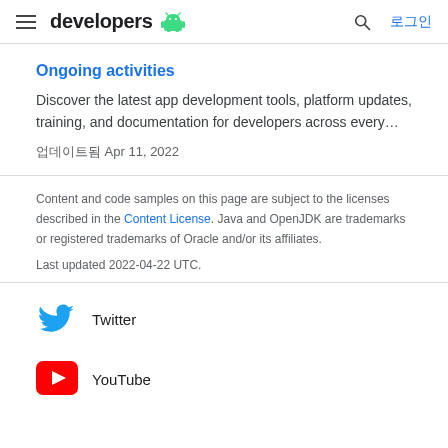developers [Android logo] | 로그인
Ongoing activities
Discover the latest app development tools, platform updates, training, and documentation for developers across every…
업데이트됨 Apr 11, 2022
Content and code samples on this page are subject to the licenses described in the Content License. Java and OpenJDK are trademarks or registered trademarks of Oracle and/or its affiliates.
Last updated 2022-04-22 UTC.
[Figure (logo): Twitter bird logo icon in blue]
Twitter
[Figure (logo): YouTube play button logo in red]
YouTube